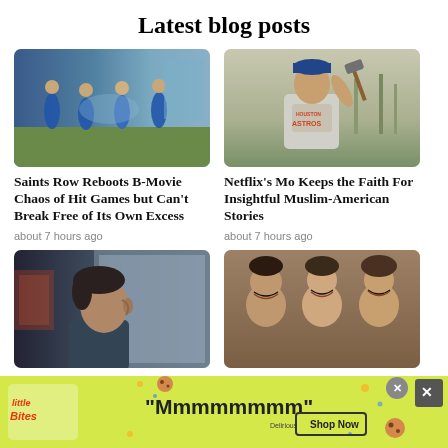Latest blog posts
[Figure (photo): Scene from Saints Row game showing characters in blue outfits fighting outdoors]
[Figure (photo): Man in Houston Astros shirt outdoors, appearing to swing something]
Saints Row Reboots B-Movie Chaos of Hit Games but Can't Break Free of Its Own Excess
about 7 hours ago
Netflix's Mo Keeps the Faith For Insightful Muslim-American Stories
about 7 hours ago
[Figure (photo): Side profile of a man with dark hair on a train or vehicle]
[Figure (photo): Group of smiling young people together, possibly from a movie]
[Figure (photo): Little Bites advertisement banner with text Mmmmmmmm and Shop Now button]